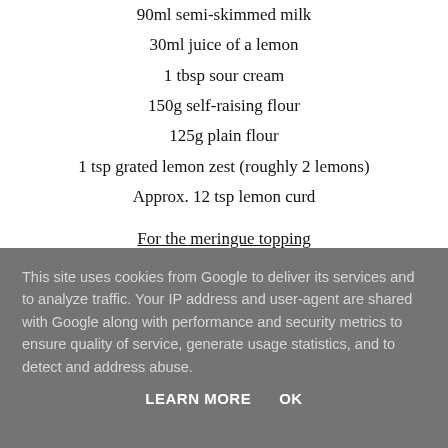90ml semi-skimmed milk
30ml juice of a lemon
1 tbsp sour cream
150g self-raising flour
125g plain flour
1 tsp grated lemon zest (roughly 2 lemons)
Approx. 12 tsp lemon curd
For the meringue topping
4 large egg whites
This site uses cookies from Google to deliver its services and to analyze traffic. Your IP address and user-agent are shared with Google along with performance and security metrics to ensure quality of service, generate usage statistics, and to detect and address abuse.
LEARN MORE   OK